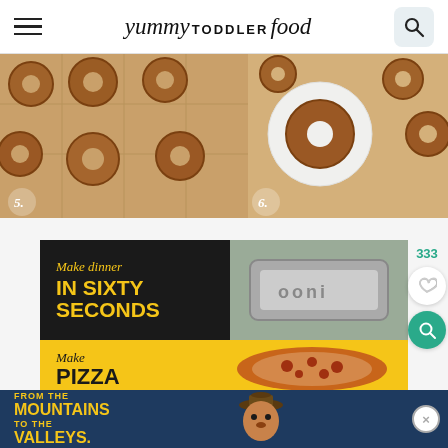yummy TODDLER food
[Figure (photo): Overhead view of baked donuts on a cooling grid, labeled 5.]
[Figure (photo): Overhead view of baked donuts with one on a white plate, labeled 6.]
[Figure (infographic): Ooni pizza oven advertisement: Make dinner IN SIXTY SECONDS / Make PIZZA, with pizza oven and pizza images]
[Figure (infographic): Smokey Bear banner ad: FROM THE MOUNTAINS TO THE VALLEYS.]